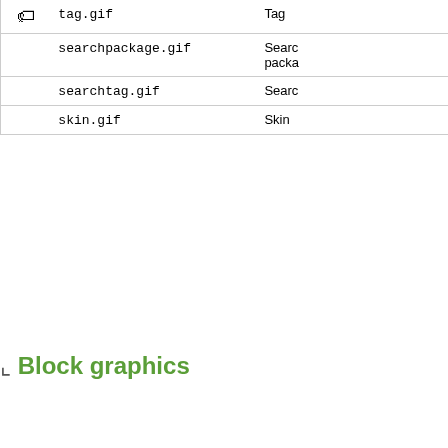|  | File Name | Description |
| --- | --- | --- |
| [icon] | tag.gif | Tag |
|  | searchpackage.gif | Search package |
|  | searchtag.gif | Search... |
|  | skin.gif | Skin |
Block graphics
|  | File Name | Description |
| --- | --- | --- |
|  | dot_ld.gif | Dot gra... left-dow... |
|  | dot_lrd.gif | Dot gra... left-right... down |
|  | dot_lr.gif | Dot gra... left-right... |
|  | dot_rd.gif | Dot gra... right-do... |